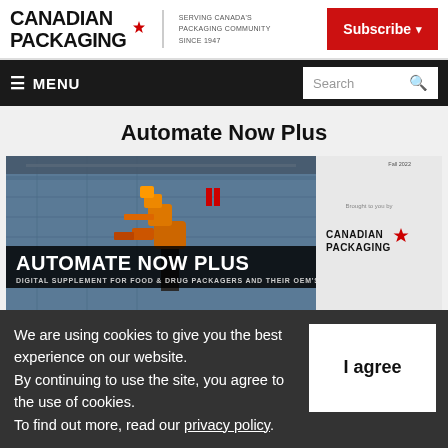CANADIAN PACKAGING — SERVING CANADA'S PACKAGING COMMUNITY SINCE 1947 | Subscribe
≡ MENU | Search
Automate Now Plus
[Figure (screenshot): Cover image of Automate Now Plus digital supplement showing industrial robots and packaging machinery, with Canadian Packaging logo and text: AUTOMATE NOW PLUS — DIGITAL SUPPLEMENT FOR FOOD & DRUG PACKAGERS AND THEIR OEM'S]
We are using cookies to give you the best experience on our website. By continuing to use the site, you agree to the use of cookies. To find out more, read our privacy policy.